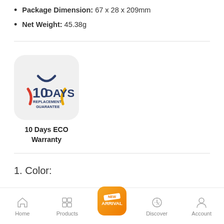Package Dimension: 67 x 28 x 209mm
Net Weight: 45.38g
[Figure (logo): 10 Days ECO Warranty badge — rounded square grey background with '10 DAYS REPLACEMENT GUARANTEE' text and decorative arcs in red/orange and yellow]
10 Days ECO Warranty
1. Color:
[Figure (screenshot): Mobile app bottom navigation bar with Home, Products, New Arrival (orange rounded square), Discover, Account icons]